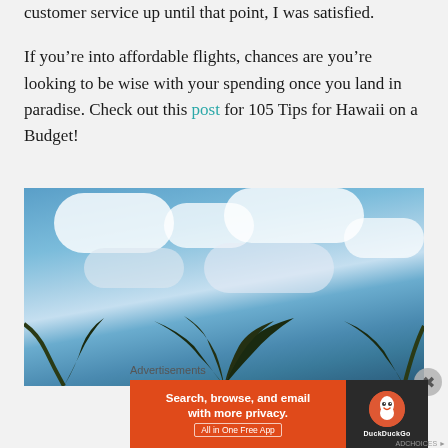customer service up until that point, I was satisfied.
If you’re into affordable flights, chances are you’re looking to be wise with your spending once you land in paradise. Check out this post for 105 Tips for Hawaii on a Budget!
[Figure (photo): Upward-looking photo of a blue sky with white clouds and palm tree fronds visible at the bottom of the frame.]
Advertisements
[Figure (other): DuckDuckGo advertisement banner: 'Search, browse, and email with more privacy. All in One Free App' with DuckDuckGo logo on dark background.]